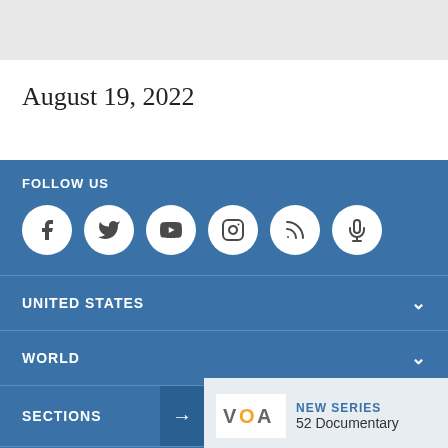[Figure (other): Gray banner area at top of page]
August 19, 2022
FOLLOW US
[Figure (other): Social media icons: Facebook, Twitter, YouTube, Instagram, RSS, Podcast]
UNITED STATES
WORLD
SECTIONS
[Figure (logo): VOA logo with NEW SERIES label and 52 Documentary text]
ABOUT THIS SITE